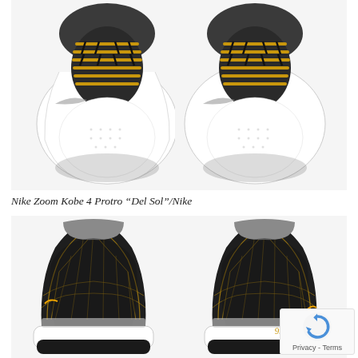[Figure (photo): Top-down view of a pair of Nike Zoom Kobe 4 Protro 'Del Sol' basketball shoes showing white toe boxes and gold/yellow laces with black detailing against a white background.]
Nike Zoom Kobe 4 Protro “Del Sol”/Nike
[Figure (photo): Rear view of a pair of Nike Zoom Kobe 4 Protro 'Del Sol' basketball shoes showing black heel cups, gold/yellow quilted pattern on the collar, white midsole, and black outsole. A signature mark is visible on the right shoe.]